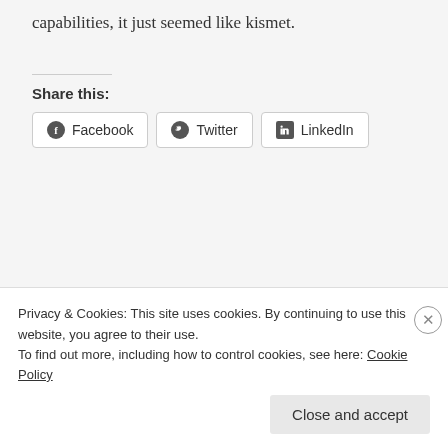capabilities, it just seemed like kismet.
Share this:
[Figure (infographic): Social share buttons for Facebook, Twitter, and LinkedIn]
Privacy & Cookies: This site uses cookies. By continuing to use this website, you agree to their use.
To find out more, including how to control cookies, see here: Cookie Policy
Close and accept